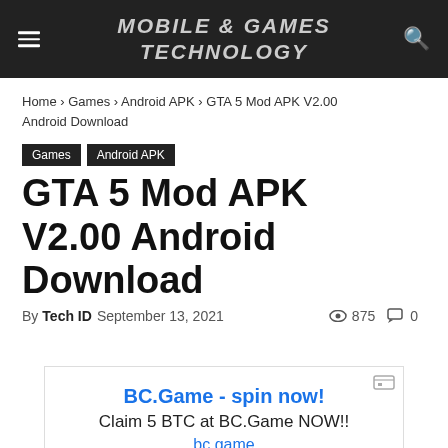MOBILE & GAMES TECHNOLOGY
Home › Games › Android APK › GTA 5 Mod APK V2.00 Android Download
Games   Android APK
GTA 5 Mod APK V2.00 Android Download
By Tech ID September 13, 2021   875   0
BC.Game - spin now!
Claim 5 BTC at BC.Game NOW!!
bc.game